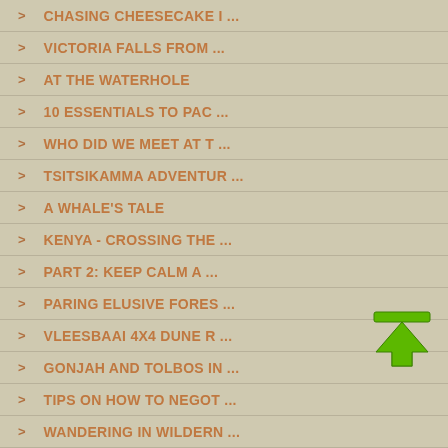> CHASING CHEESECAKE I ...
> VICTORIA FALLS FROM ...
> AT THE WATERHOLE
> 10 ESSENTIALS TO PAC ...
> WHO DID WE MEET AT T ...
> TSITSIKAMMA ADVENTUR ...
> A WHALE'S TALE
> KENYA - CROSSING THE ...
> PART 2: KEEP CALM A ...
> PARING ELUSIVE FORES ...
> VLEESBAAI 4X4 DUNE R ...
> GONJAH AND TOLBOS IN ...
> TIPS ON HOW TO NEGOT ...
> WANDERING IN WILDERN ...
[Figure (illustration): Green upward arrow icon with a horizontal bar on top, indicating scroll to top button]